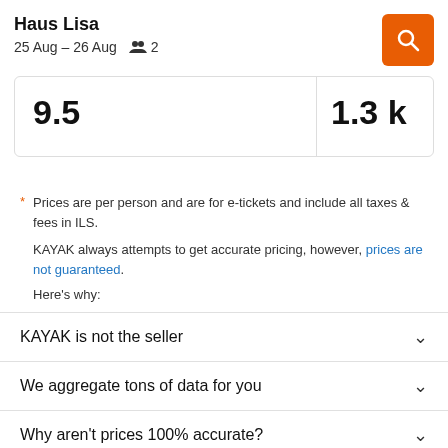Haus Lisa
25 Aug – 26 Aug  👥 2
9.5
1.3 k
* Prices are per person and are for e-tickets and include all taxes & fees in ILS.
KAYAK always attempts to get accurate pricing, however, prices are not guaranteed.
Here's why:
KAYAK is not the seller
We aggregate tons of data for you
Why aren't prices 100% accurate?